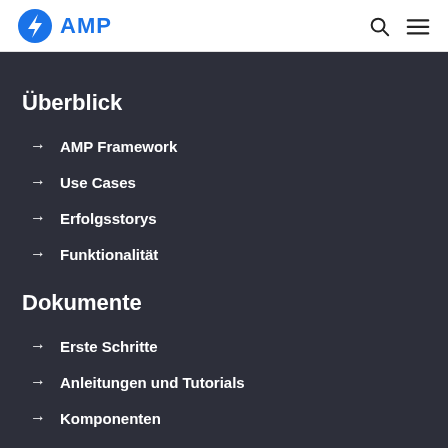AMP
Überblick
AMP Framework
Use Cases
Erfolgsstorys
Funktionalität
Dokumente
Erste Schritte
Anleitungen und Tutorials
Komponenten
Beispiele